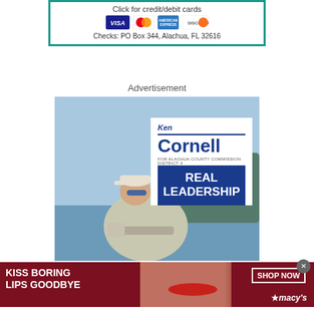[Figure (infographic): Payment methods banner showing 'Click for credit/debit cards' with Visa, Mastercard, Amex, Discover logos, and 'Checks: PO Box 344, Alachua, FL 32616']
Advertisement
[Figure (infographic): Ken Cornell political campaign ad for Alachua County Commission District 4, showing candidate outdoors with text 'REAL LEADERSHIP']
[Figure (infographic): Macy's advertisement banner: 'KISS BORING LIPS GOODBYE' with SHOP NOW button and Macy's star logo on dark red background with woman's face]